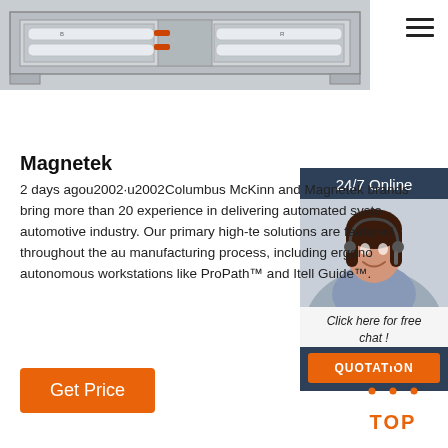[Figure (photo): Industrial product photo of a Magnetek automated system component, shown in a gray metal enclosure with fluorescent lighting parts visible]
[Figure (photo): 24/7 Online chat widget with photo of a smiling female customer support agent wearing a headset, overlaid with a dark teal header saying '24/7 Online', italic text 'Click here for free chat!' and an orange QUOTATION button]
Magnetek
2 days agou2002·u2002Columbus McKinn and Magnetek brands bring more than 20 experience in delivering automated syste automotive industry. Our primary high-te solutions are featured throughout the au manufacturing process, including ergono autonomous workstations like ProPath™ and Itell Guide™.
[Figure (logo): Orange TOP button with dotted triangle arrow pointing up and bold red-orange text 'TOP']
Get Price